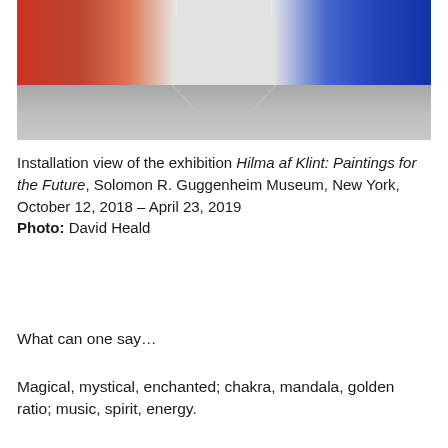[Figure (photo): Installation view of an art gallery showing large colorful paintings on curved white walls, with a reflective floor. Red/orange works on the left, blue works on the right.]
Installation view of the exhibition Hilma af Klint: Paintings for the Future, Solomon R. Guggenheim Museum, New York, October 12, 2018 – April 23, 2019
Photo: David Heald
What can one say…
Magical, mystical, enchanted; chakra, mandala, golden ratio; music, spirit, energy.